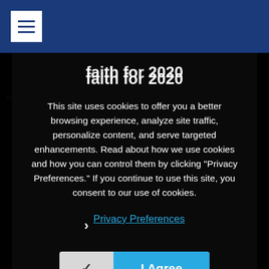faith for 2020
This site uses cookies to offer you a better browsing experience, analyze site traffic, personalize content, and serve targeted enhancements. Read about how we use cookies and how you can control them by clicking "Privacy Preferences." If you continue to use this site, you consent to our use of cookies.
› Privacy Preferences
✓  I Agree